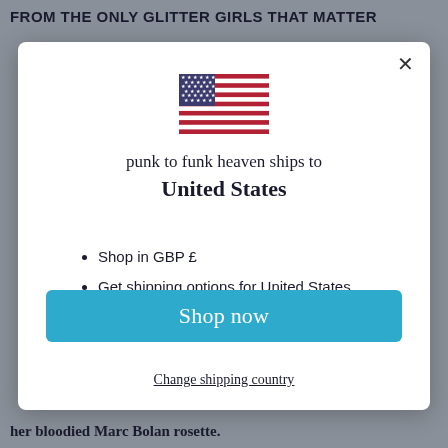FROM THE ONLY GLITTER GIRLS THAT MATTER
[Figure (illustration): Modal dialog box with US flag, shipping info, and Shop now button]
her bloodied Marc Bolan rosette.